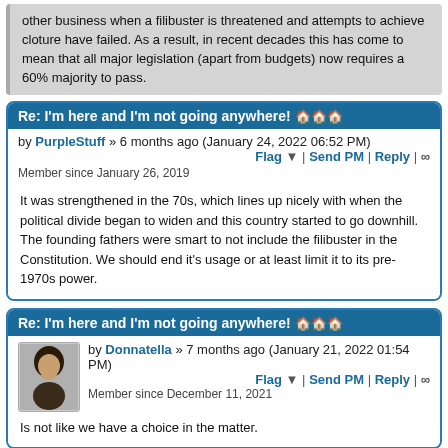other business when a filibuster is threatened and attempts to achieve cloture have failed. As a result, in recent decades this has come to mean that all major legislation (apart from budgets) now requires a 60% majority to pass.
Re: I'm here and I'm not going anywhere! 🏠🏠🏠
by PurpleStuff » 6 months ago (January 24, 2022 06:52 PM)
Flag ▼ | Send PM | Reply | ∞
Member since January 26, 2019
It was strengthened in the 70s, which lines up nicely with when the political divide began to widen and this country started to go downhill. The founding fathers were smart to not include the filibuster in the Constitution. We should end it's usage or at least limit it to its pre-1970s power.
Re: I'm here and I'm not going anywhere! 🏠🏠🏠
by Donnatella » 7 months ago (January 21, 2022 01:54 PM)
Flag ▼ | Send PM | Reply | ∞
Member since December 11, 2021
Is not like we have a choice in the matter.
▲ Top